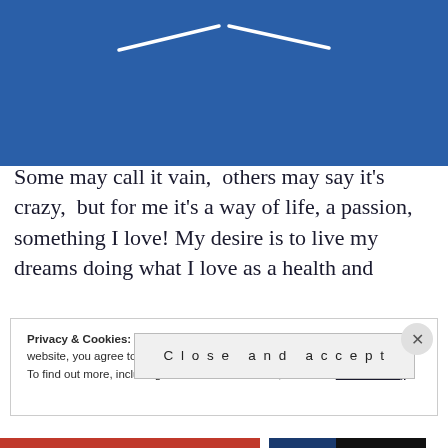[Figure (illustration): Blue banner background with two white angled lines forming a chevron/roof shape at the top]
Some may call it vain,  others may say it's crazy,  but for me it's a way of life, a passion, something I love! My desire is to live my dreams doing what I love as a health and
Privacy & Cookies: This site uses cookies. By continuing to use this website, you agree to their use.
To find out more, including how to control cookies, see here: Cookie Policy
Close and accept